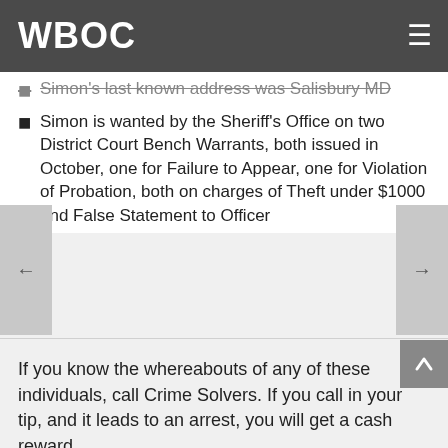WBOC
Simon's last known address was Salisbury MD
Simon is wanted by the Sheriff's Office on two District Court Bench Warrants, both issued in October, one for Failure to Appear, one for Violation of Probation, both on charges of Theft under $1000 and False Statement to Officer
If you know the whereabouts of any of these individuals, call Crime Solvers. If you call in your tip, and it leads to an arrest, you will get a cash reward.
CRIME SOLVERS: